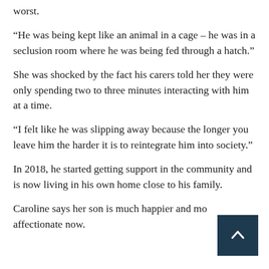worst.
“He was being kept like an animal in a cage – he was in a seclusion room where he was being fed through a hatch.”
She was shocked by the fact his carers told her they were only spending two to three minutes interacting with him at a time.
“I felt like he was slipping away because the longer you leave him the harder it is to reintegrate him into society.”
In 2018, he started getting support in the community and is now living in his own home close to his family.
Caroline says her son is much happier and more affectionate now.